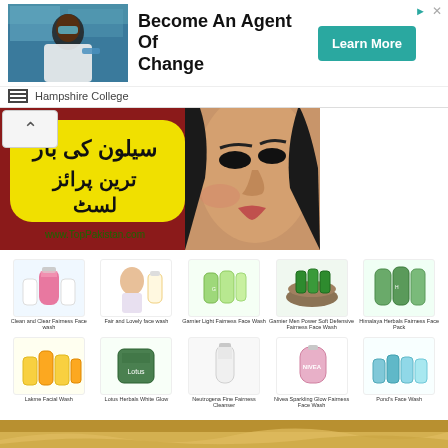[Figure (screenshot): Advertisement banner: Hampshire College — Become An Agent Of Change, with Learn More button, showing a person in a lab coat. Arrow and X icons top right.]
[Figure (photo): Urdu text on yellow background with a woman's face closeup on right. Text reads about fairness creams price list. URL: www.TopPakistan.com]
[Figure (photo): Grid of 10 fairness face wash products including Clean and Clear Fairness Face wash, Fair and Lovely face wash, Garnier Light Fairness Face Wash, Garnier Men Power Soft Defensive Fairness Face Wash, Himalaya Herbals Fairness Face Pack, Lakme Facial Wash, Lotus Herbals White Glow, Neutrogena Fine Fairness Cleanser, Nivea Sparkling Glow Fairness Face Wash, Ponds Face Wash]
[Figure (photo): Bottom strip showing a sandy/golden desert landscape, partially visible]